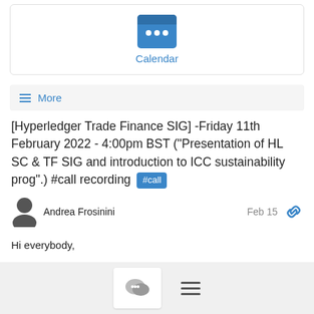[Figure (illustration): Calendar icon — blue rounded rectangle with white grid dots]
Calendar
≡ More
[Hyperledger Trade Finance SIG] -Friday 11th February 2022 - 4:00pm BST ("Presentation of HL SC & TF SIG and introduction to ICC sustainability prog".) #call recording #call
Andrea Frosinini
Feb 15
Hi everybody,
This is to let you know that both recording and deck of the